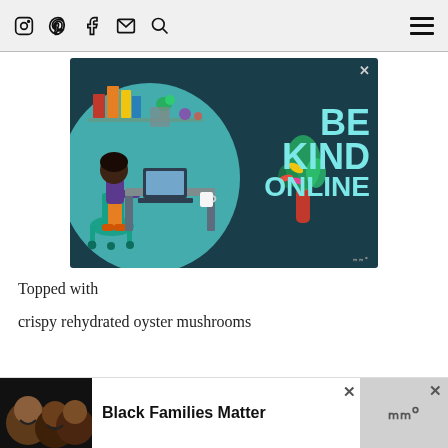Instagram Pinterest Facebook Email Search [hamburger menu]
[Figure (illustration): Advertisement banner with dark teal background showing an illustrated woman sitting at a desk working on a laptop, with shelves of books and plants behind her. Large teal text reads 'BE KIND ONLINE'. A close button (X) appears in the top right corner.]
Topped with
crispy rehydrated oyster mushrooms
[Figure (illustration): Bottom advertisement banner with a photo of smiling people on a dark background, and bold text reading 'Black Families Matter'. Close (x) button visible. Watermark with 'w' logo.]